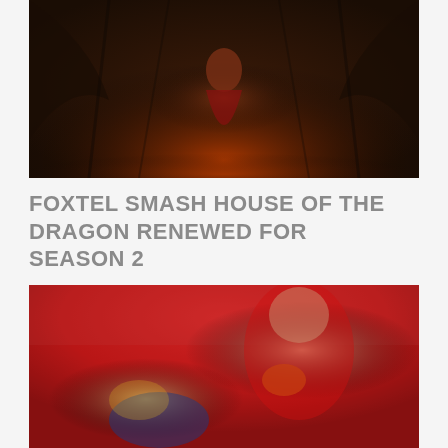[Figure (photo): Promotional image for House of the Dragon showing a woman in a red dress seated on an iron throne with dark dragon wings spread behind her, dramatic fiery lighting]
FOXTEL SMASH HOUSE OF THE DRAGON RENEWED FOR SEASON 2
[Figure (photo): Two AFL football players in action, one in a red Sydney Swans jersey holding a football, the other in a yellow and navy jersey bending forward, crowd blurred in background]